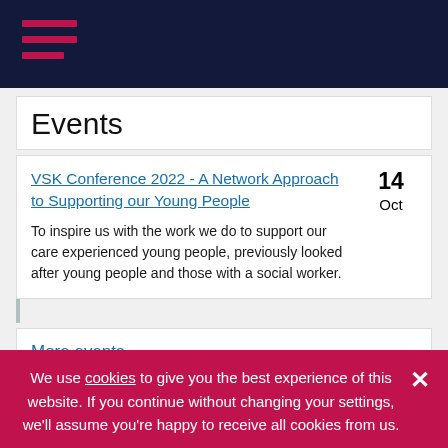Navigation menu header with hamburger icon
Events
VSK Conference 2022 - A Network Approach to Supporting our Young People
14 Oct
To inspire us with the work we do to support our care experienced young people, previously looked after young people and those with a social worker.
More events...
We use cookies to give you the best experience of this website. If you continue without changing your settings, we'll assume you're happy to receive all cookies from us.